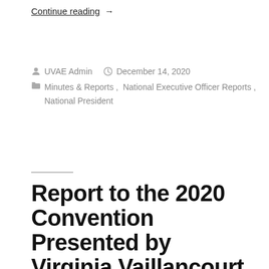Continue reading →
By UVAE Admin   December 14, 2020   Minutes & Reports, National Executive Officer Reports, National President
Report to the 2020 Convention Presented by Virginia Vaillancourt